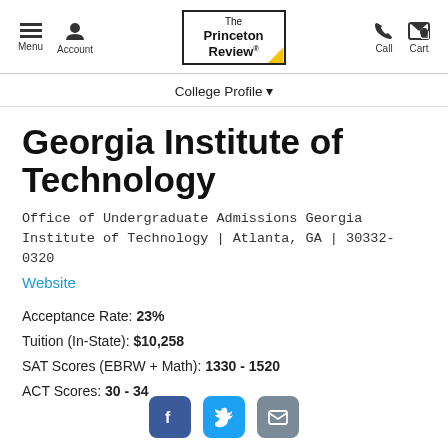Menu | Account | The Princeton Review | Call | Cart
College Profile
Georgia Institute of Technology
Office of Undergraduate Admissions Georgia Institute of Technology | Atlanta, GA | 30332-0320
Website
Acceptance Rate: 23%
Tuition (In-State): $10,258
SAT Scores (EBRW + Math): 1330 - 1520
ACT Scores: 30 - 34
Facebook | Twitter | Email